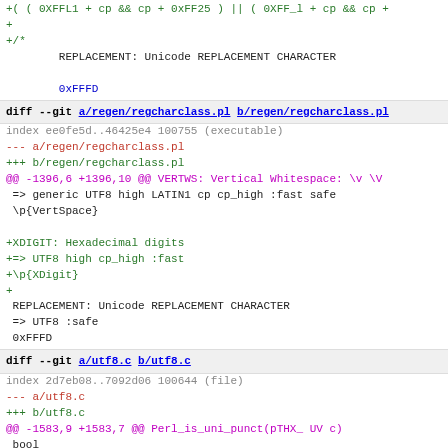git diff code block showing changes to regen/regcharclass.pl and utf8.c
REPLACEMENT: Unicode REPLACEMENT CHARACTER
0xFFFD
diff --git a/regen/regcharclass.pl b/regen/regcharclass.pl
index ee0fe5d..46425e4 100755 (executable)
--- a/regen/regcharclass.pl
+++ b/regen/regcharclass.pl
@@ -1396,6 +1396,10 @@ VERTWS: Vertical Whitespace: \v \V
=> generic UTF8 high LATIN1 cp cp_high :fast safe
 \p{VertSpace}
+XDIGIT: Hexadecimal digits
+=> UTF8 high cp_high :fast
+\p{XDigit}
+
REPLACEMENT: Unicode REPLACEMENT CHARACTER
 => UTF8 :safe
 0xFFFD
diff --git a/utf8.c b/utf8.c
index 2d7eb08..7092d06 100644 (file)
--- a/utf8.c
+++ b/utf8.c
@@ -1583,9 +1583,7 @@ Perl_is_uni_punct(pTHX_ UV c)
bool
 Perl_is_uni_xdigit(pTHX_ UV c)
 {